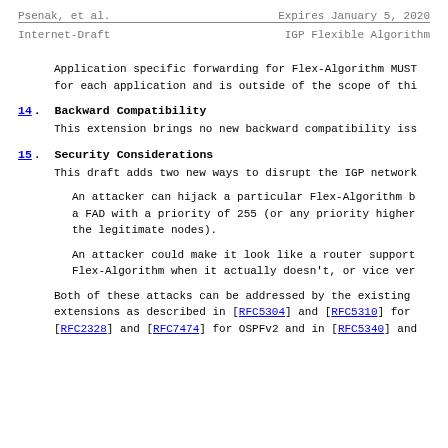Psenak, et al.          Expires January 5, 2020
Internet-Draft                   IGP Flexible Algorithm
Application specific forwarding for Flex-Algorithm MUST for each application and is outside of the scope of thi
14.  Backward Compatibility
This extension brings no new backward compatibility iss
15.  Security Considerations
This draft adds two new ways to disrupt the IGP network
An attacker can hijack a particular Flex-Algorithm b a FAD with a priority of 255 (or any priority higher the legitimate nodes).
An attacker could make it look like a router support Flex-Algorithm when it actually doesn't, or vice ver
Both of these attacks can be addressed by the existing extensions as described in [RFC5304] and [RFC5310] for [RFC2328] and [RFC7474] for OSPFv2 and in [RFC5340] and